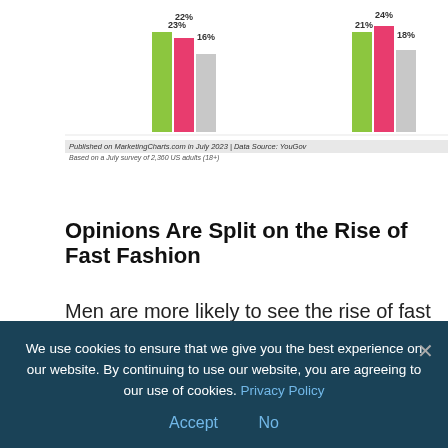[Figure (grouped-bar-chart): Fast Fashion opinions by gender]
Published on MarketingCharts.com in July 2023 | Data Source: YouGov
Based on a July survey of 2,360 US adults (18+)
Opinions Are Split on the Rise of Fast Fashion
Men are more likely to see the rise of fast fashion as a good thing than a bad thing.
[Figure (grouped-bar-chart): Partial view of grouped bar chart showing percentages 82%, 81%, 78%, 77%, 71%, 71%, 70% with green and red bars]
We use cookies to ensure that we give you the best experience on our website. By continuing to use our website, you are agreeing to our use of cookies. Privacy Policy
Accept   No